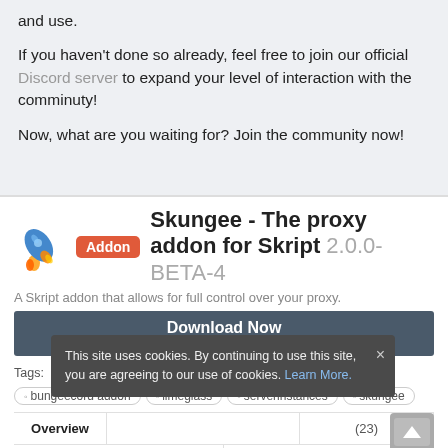and use.
If you haven't done so already, feel free to join our official Discord server to expand your level of interaction with the comminuty!
Now, what are you waiting for? Join the community now!
Addon Skungee - The proxy addon for Skript 2.0.0-BETA-4
A Skript addon that allows for full control over your proxy.
Download Now
Via external site
Tags: addon  bungee  bungee addon  bungeecord  bungeecord addon  limeglass  serverinstances  skungee
Overview
Version History
Discussion (23)
This site uses cookies. By continuing to use this site, you are agreeing to our use of cookies. Learn More.